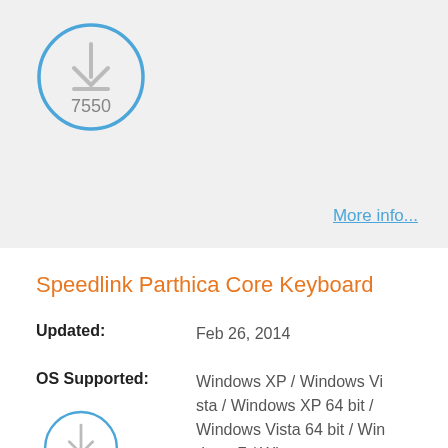[Figure (infographic): Download count circle icon with download arrow symbol and number 7550, blue outlined circle on grey background]
More info...
Speedlink Parthica Core Keyboard
Updated: Feb 26, 2014
OS Supported: Windows XP / Windows Vista / Windows XP 64 bit / Windows Vista 64 bit / Windows 7 / Win...
License: Free
[Figure (infographic): Partial download count circle icon at bottom of page, blue outlined circle with download arrow symbol, partially cropped]